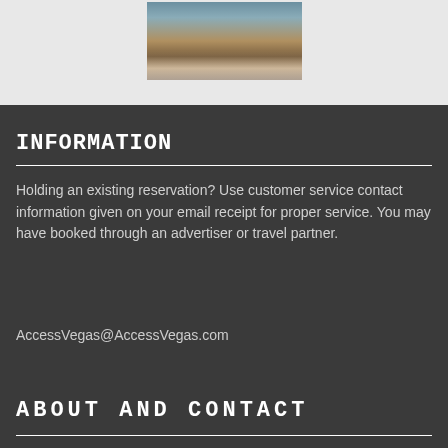[Figure (photo): Partial view of a canyon landscape photo, showing layered rock formations with reddish-brown and tan colors, partially cut off at the top of the page.]
INFORMATION
Holding an existing reservation? Use customer service contact information given on your email receipt for proper service. You may have booked through an advertiser or travel partner.
AccessVegas@AccessVegas.com
ABOUT AND CONTACT